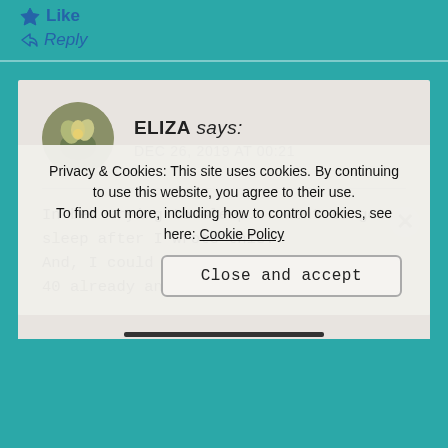Like
Reply
ELIZA says:
DEC 26, 2019 AT 00:21
In bed trying to sleep... went to get sleep after I wrote this.
And, I could use more but the it'd be 40 already and not
Privacy & Cookies: This site uses cookies. By continuing to use this website, you agree to their use.
To find out more, including how to control cookies, see here: Cookie Policy
Close and accept